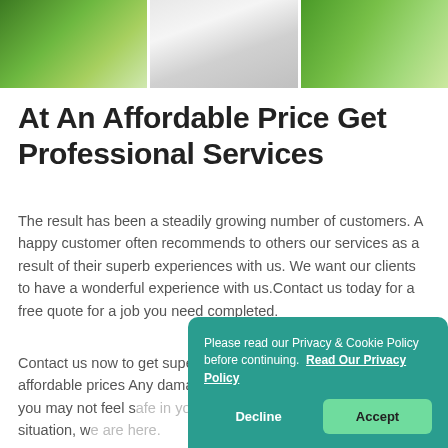[Figure (photo): Strip of photos showing windows and trees/greenery viewed through window panes]
At An Affordable Price Get Professional Services
The result has been a steadily growing number of customers. A happy customer often recommends to others our services as a result of their superb experiences with us. We want our clients to have a wonderful experience with us.Contact us today for a free quote for a job you need completed.
Contact us now to get superior window repairing services with affordable prices Any dama... risk, and you may not feel s... To help in such situation, w...
Please read our Privacy & Cookie Policy before continuing.  Read Our Privacy Policy  Decline  Accept